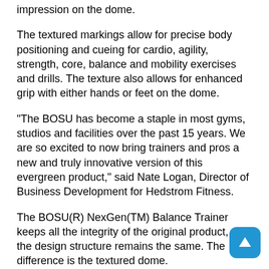impression on the dome.
The textured markings allow for precise body positioning and cueing for cardio, agility, strength, core, balance and mobility exercises and drills. The texture also allows for enhanced grip with either hands or feet on the dome.
"The BOSU has become a staple in most gyms, studios and facilities over the past 15 years. We are so excited to now bring trainers and pros a new and truly innovative version of this evergreen product," said Nate Logan, Director of Business Development for Hedstrom Fitness.
The BOSU(R) NexGen(TM) Balance Trainer keeps all the integrity of the original product, as the design structure remains the same. The difference is the textured dome.
"This design change is arguably the biggest innovation for BOSU since the product was invented. It allows for more precise placement of hands and feet, which improves exercise technique and form and, ultimately, results," said Candice Brooks, Hedstrom Fitness and BOSU(R) Programming & Master Trainer Team Director.